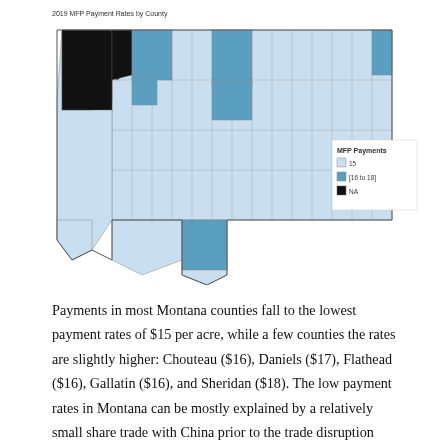2019 MFP Payment Rates by County
[Figure (map): Choropleth map of Montana counties showing 2019 MFP Payment Rates by County. Legend shows three categories: 15 (light blue), 76 to 18 (medium blue), and NA (black). Several counties in northwest Montana are shown in black (NA), a few counties are shown in medium blue indicating higher rates, and most counties are light blue indicating the base $15 rate.]
Payments in most Montana counties fall to the lowest payment rates of $15 per acre, while a few counties the rates are slightly higher: Chouteau ($16), Daniels ($17), Flathead ($16), Gallatin ($16), and Sheridan ($18). The low payment rates in Montana can be mostly explained by a relatively small share trade with China prior to the trade disruption